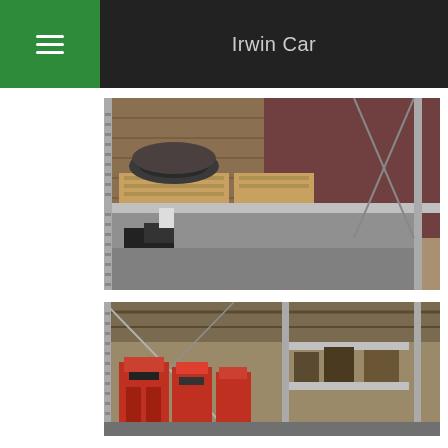Irwin Car
[Figure (photo): Warehouse shelving unit with industrial chain/track components stacked on wooden pallets on upper shelf, and additional machinery parts on the floor below. Metal racking system with perforated uprights visible.]
[Figure (photo): Warehouse interior showing metal shelving with red industrial equipment/machinery parts (possibly pump or motor components) stored on shelves, with metal racking uprights visible.]